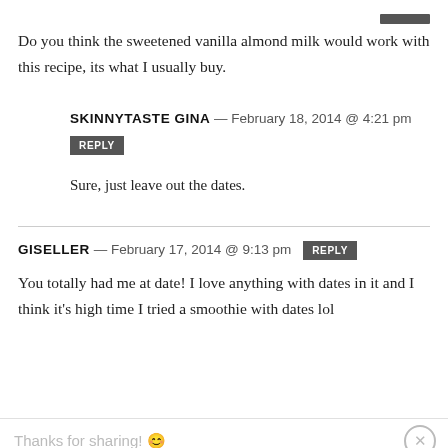Do you think the sweetened vanilla almond milk would work with this recipe, its what I usually buy.
SKINNYTASTE GINA — February 18, 2014 @ 4:21 pm
REPLY
Sure, just leave out the dates.
GISELLER — February 17, 2014 @ 9:13 pm REPLY
You totally had me at date! I love anything with dates in it and I think it's high time I tried a smoothie with dates lol
Thanks for sharing! 😊